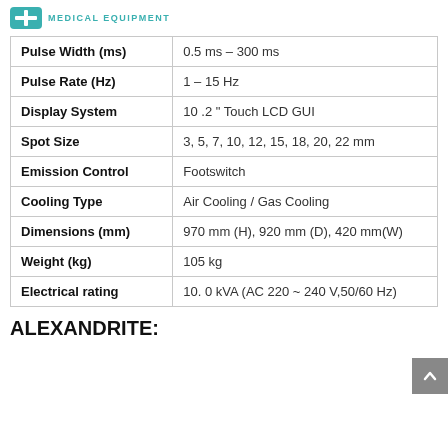MEDICAL EQUIPMENT
| Parameter | Value |
| --- | --- |
| Pulse Width (ms) | 0.5 ms – 300 ms |
| Pulse Rate (Hz) | 1 – 15 Hz |
| Display System | 10 .2 " Touch LCD GUI |
| Spot Size | 3, 5, 7, 10, 12, 15, 18, 20, 22 mm |
| Emission Control | Footswitch |
| Cooling Type | Air Cooling / Gas Cooling |
| Dimensions (mm) | 970 mm (H), 920 mm (D), 420 mm(W) |
| Weight (kg) | 105 kg |
| Electrical rating | 10. 0 kVA (AC 220 ~ 240 V,50/60 Hz) |
ALEXANDRITE: